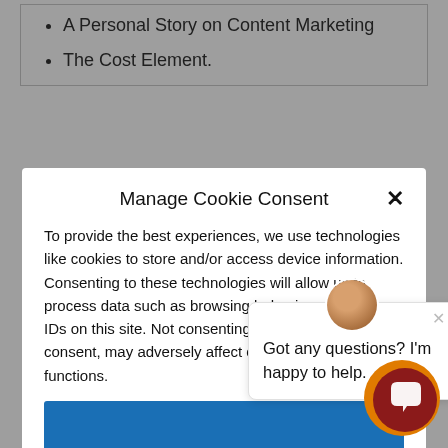A Personal Story on Content Marketing
The Cost Element.
Manage Cookie Consent
To provide the best experiences, we use technologies like cookies to store and/or access device information. Consenting to these technologies will allow us to process data such as browsing behavior or unique IDs on this site. Not consenting or withdrawing consent, may adversely affect certain features and functions.
View preferences
Cookie Policy   Privacy Policy
[Figure (screenshot): Chat popup with avatar saying 'Got any questions? I'm happy to help.']
[Figure (illustration): Chat launcher button — orange outer ring with dark red inner circle containing a speech bubble icon]